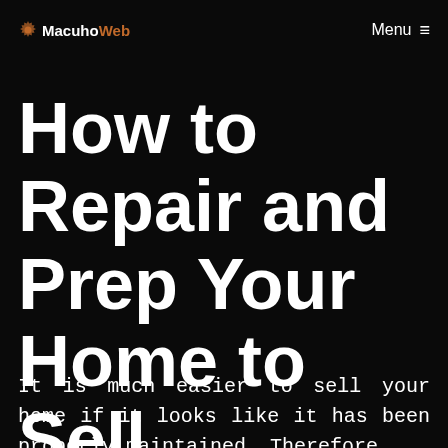MacuhoWeb  Menu ≡
How to Repair and Prep Your Home to Sell
It is much easier to sell your home if it looks like it has been properly maintained. Therefore,